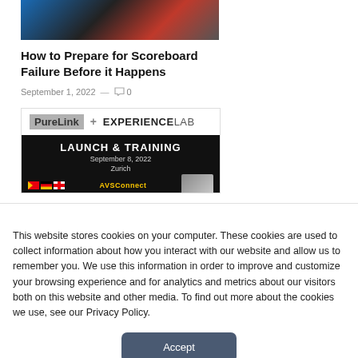[Figure (photo): Article thumbnail image showing what appears to be car rear lights or similar auto imagery with red and blue tones]
How to Prepare for Scoreboard Failure Before it Happens
September 1, 2022 — 0
[Figure (photo): PureLink + EXPERIENCELAB banner showing LAUNCH & TRAINING event on September 8, 2022 in Zurich with colorful flags and AV Connect logo]
This website stores cookies on your computer. These cookies are used to collect information about how you interact with our website and allow us to remember you. We use this information in order to improve and customize your browsing experience and for analytics and metrics about our visitors both on this website and other media. To find out more about the cookies we use, see our Privacy Policy.
Accept